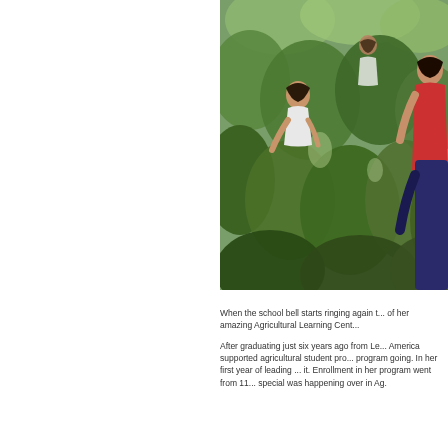[Figure (photo): Students working in an agricultural garden/learning center, bending over green leafy plants. Multiple students visible including one in a red shirt and one in a dark blue shirt in the foreground.]
When the school bell starts ringing again t... of her amazing Agricultural Learning Cent...
After graduating just six years ago from Le... America supported agricultural student pro... program going. In her first year of leading ... it. Enrollment in her program went from 11... special was happening over in Ag.